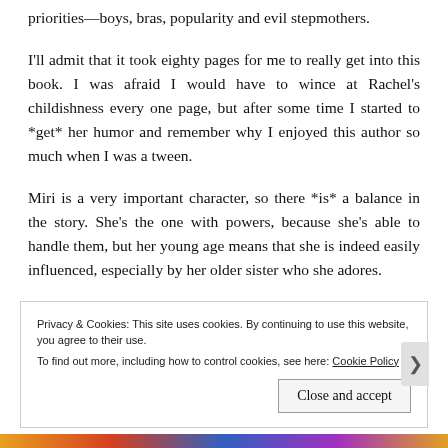priorities—boys, bras, popularity and evil stepmothers.
I'll admit that it took eighty pages for me to really get into this book. I was afraid I would have to wince at Rachel's childishness every one page, but after some time I started to *get* her humor and remember why I enjoyed this author so much when I was a tween.
Miri is a very important character, so there *is* a balance in the story. She's the one with powers, because she's able to handle them, but her young age means that she is indeed easily influenced, especially by her older sister who she adores.
Privacy & Cookies: This site uses cookies. By continuing to use this website, you agree to their use. To find out more, including how to control cookies, see here: Cookie Policy
Close and accept